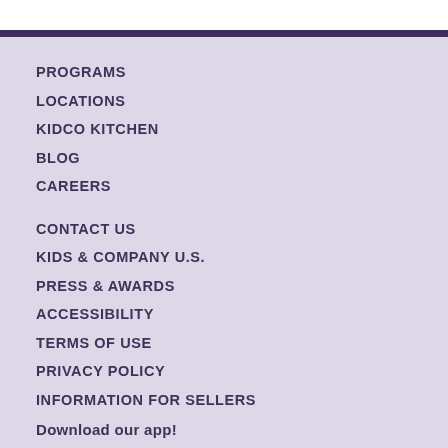PROGRAMS
LOCATIONS
KIDCO KITCHEN
BLOG
CAREERS
CONTACT US
KIDS & COMPANY U.S.
PRESS & AWARDS
ACCESSIBILITY
TERMS OF USE
PRIVACY POLICY
INFORMATION FOR SELLERS
Download our app!